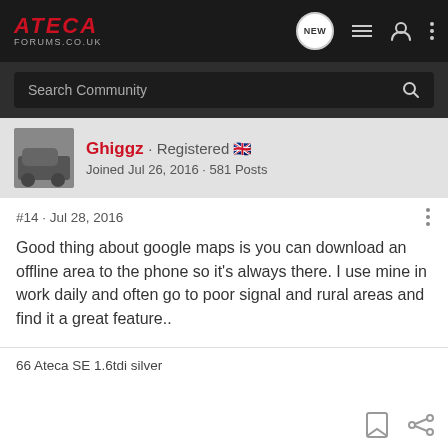ATECA FORUMS.CO.UK
Search Community
Ghiggz · Registered 🇬🇧
Joined Jul 26, 2016 · 581 Posts
#14 · Jul 28, 2016
Good thing about google maps is you can download an offline area to the phone so it's always there. I use mine in work daily and often go to poor signal and rural areas and find it a great feature..
66 Ateca SE 1.6tdi silver